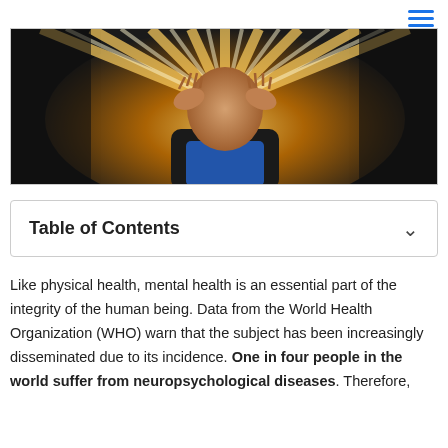[Figure (photo): Person holding their head with radiating bright light beams emanating from the face, symbolizing neurological or mental health stress]
Table of Contents
Like physical health, mental health is an essential part of the integrity of the human being. Data from the World Health Organization (WHO) warn that the subject has been increasingly disseminated due to its incidence. One in four people in the world suffer from neuropsychological diseases. Therefore,